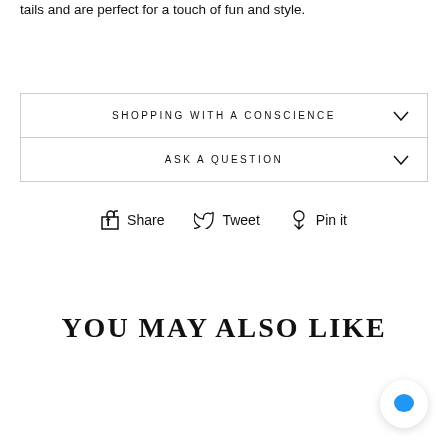tails and are perfect for a touch of fun and style.
SHOPPING WITH A CONSCIENCE
ASK A QUESTION
Share  Tweet  Pin it
YOU MAY ALSO LIKE